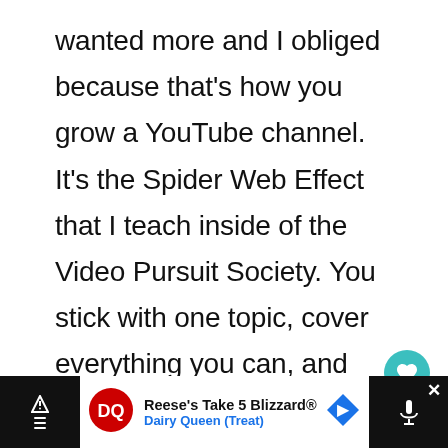wanted more and I obliged because that's how you grow a YouTube channel. It's the Spider Web Effect that I teach inside of the Video Pursuit Society. You stick with one topic, cover everything you can, and then build on that. But I got really bored of creating GoPro content, it would have been so easy and so simple to just keep going with the same content. GoPro creates a ne camera like every single year. All you have to
[Figure (other): Teal circular button with heart/favorite icon (UI floating action button)]
1
[Figure (other): White circular share button with share icon (UI floating action button)]
[Figure (other): Advertisement banner: Reese's Take 5 Blizzard by Dairy Queen (Treat) with DQ logo and navigation arrow icon]